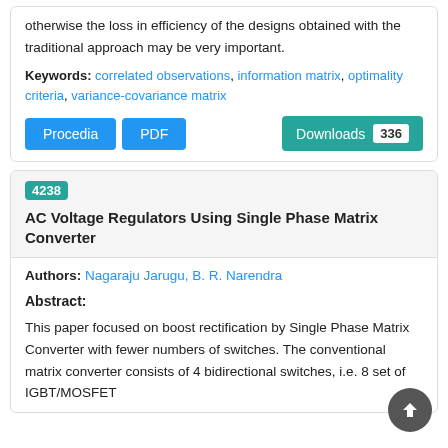otherwise the loss in efficiency of the designs obtained with the traditional approach may be very important.
Keywords: correlated observations, information matrix, optimality criteria, variance-covariance matrix
Procedia  PDF  Downloads 336
4238 AC Voltage Regulators Using Single Phase Matrix Converter
Authors: Nagaraju Jarugu, B. R. Narendra
Abstract:
This paper focused on boost rectification by Single Phase Matrix Converter with fewer numbers of switches. The conventional matrix converter consists of 4 bidirectional switches, i.e. 8 set of IGBT/MOSFET